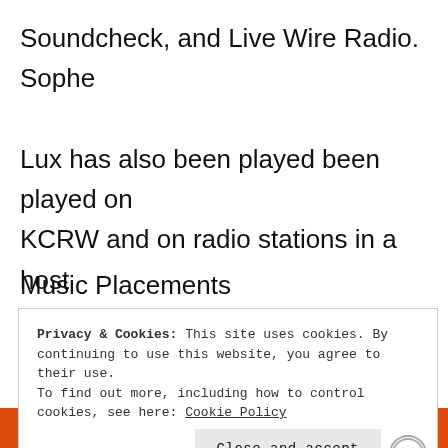Soundcheck, and Live Wire Radio. Sophe Lux has also been played been played on KCRW and on radio stations in a host of different countries, across Europe, Russia, and Asia.
Music Placements
Privacy & Cookies: This site uses cookies. By continuing to use this website, you agree to their use.
To find out more, including how to control cookies, see here: Cookie Policy
Close and accept